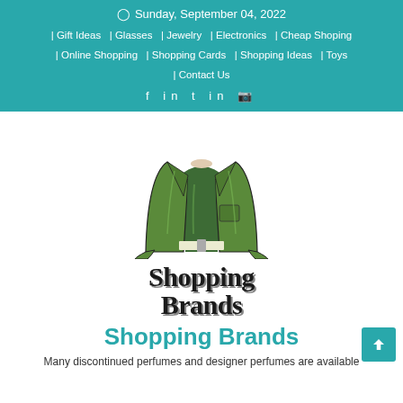⊙ Sunday, September 04, 2022 | Gift Ideas | Glasses | Jewelry | Electronics | Cheap Shoping | Online Shopping | Shopping Cards | Shopping Ideas | Toys | Contact Us
[Figure (illustration): Illustration of a headless male torso wearing an open olive green jacket over a dark green t-shirt with a belt visible at the waist.]
Shopping Brands
Shopping Brands
Many discontinued perfumes and designer perfumes are available